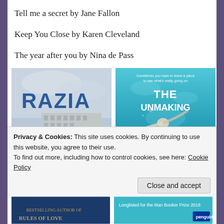Tell me a secret by Jane Fallon
Keep You Close by Karen Cleveland
The year after you by Nina de Pass
[Figure (photo): Book cover of RAZIA with tagline 'How far would you go to free a slave?' showing a woman in a busy city street scene with a red bus]
[Figure (photo): Book cover of THE UNMAKING OF ELLIE showing a person underwater in teal/blue water with small text at top 'Sometimes you have to leave a place to see what's really going on']
Privacy & Cookies: This site uses cookies. By continuing to use this website, you agree to their use.
To find out more, including how to control cookies, see here: Cookie Policy
[Figure (photo): Partial view of book covers at bottom of page, left one appears dark blue, right one has text 'Longlisted for the Man Booker Prize 2018']